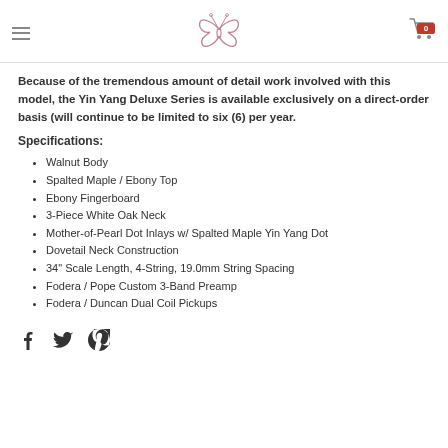[butterfly logo, hamburger menu, cart with 0]
Because of the tremendous amount of detail work involved with this model, the Yin Yang Deluxe Series is available exclusively on a direct-order basis (will continue to be limited to six (6) per year.
Specifications:
Walnut Body
Spalted Maple / Ebony Top
Ebony Fingerboard
3-Piece White Oak Neck
Mother-of-Pearl Dot Inlays w/ Spalted Maple Yin Yang Dot
Dovetail Neck Construction
34" Scale Length, 4-String, 19.0mm String Spacing
Fodera / Pope Custom 3-Band Preamp
Fodera / Duncan Dual Coil Pickups